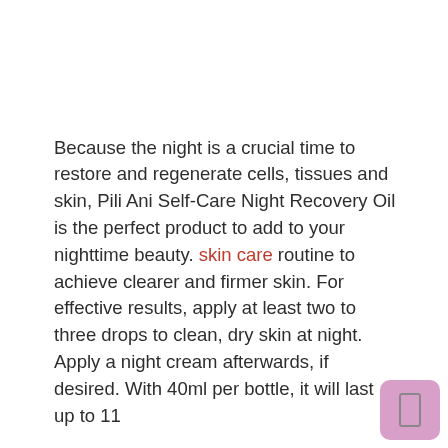Because the night is a crucial time to restore and regenerate cells, tissues and skin, Pili Ani Self-Care Night Recovery Oil is the perfect product to add to your nighttime beauty. skin care routine to achieve clearer and firmer skin. For effective results, apply at least two to three drops to clean, dry skin at night. Apply a night cream afterwards, if desired. With 40ml per bottle, it will last up to 11